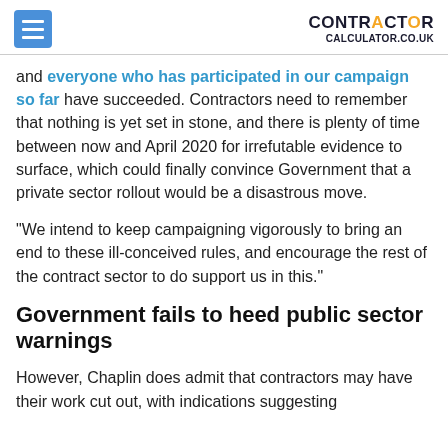CONTRACTOR CALCULATOR.CO.UK
and everyone who has participated in our campaign so far have succeeded. Contractors need to remember that nothing is yet set in stone, and there is plenty of time between now and April 2020 for irrefutable evidence to surface, which could finally convince Government that a private sector rollout would be a disastrous move.
“We intend to keep campaigning vigorously to bring an end to these ill-conceived rules, and encourage the rest of the contract sector to do support us in this.”
Government fails to heed public sector warnings
However, Chaplin does admit that contractors may have their work cut out, with indications suggesting